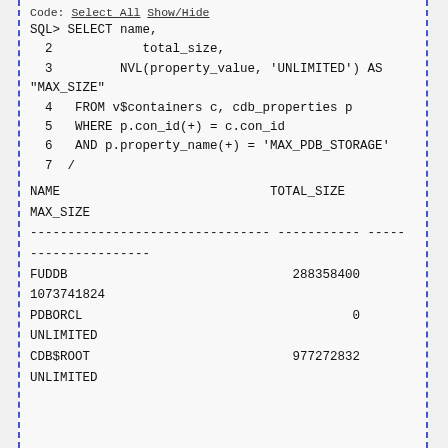Code: [Select All] [Show/Hide]
SQL> SELECT name,
   2            total_size,
   3         NVL(property_value, 'UNLIMITED') AS
"MAX_SIZE"
   4   FROM v$containers c, cdb_properties p
   5   WHERE p.con_id(+) = c.con_id
   6   AND p.property_name(+) = 'MAX_PDB_STORAGE'
   7  /
NAME                                   TOTAL_SIZE
MAX_SIZE
-------------------------------- ----------- -----
----------------
FUDDB                                 288358400
1073741824
PDBORCL                                       0
UNLIMITED
CDB$ROOT                              977272832
UNLIMITED